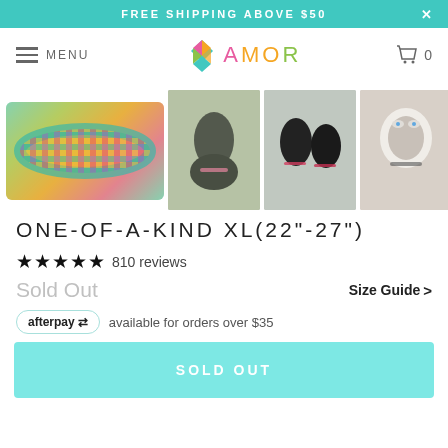FREE SHIPPING ABOVE $50
[Figure (logo): AMOR brand logo with colorful diamond icon and text AMOR in pink, orange, green letters]
[Figure (photo): Thumbnail images of dog collars and dogs wearing colorful collars: a woven collar close-up, black dog wearing collar outdoors, two black dogs wearing collars, husky wearing collar, partial image]
ONE-OF-A-KIND XL(22"-27")
★★★★★ 810 reviews
Sold Out
Size Guide >
afterpay available for orders over $35
SOLD OUT